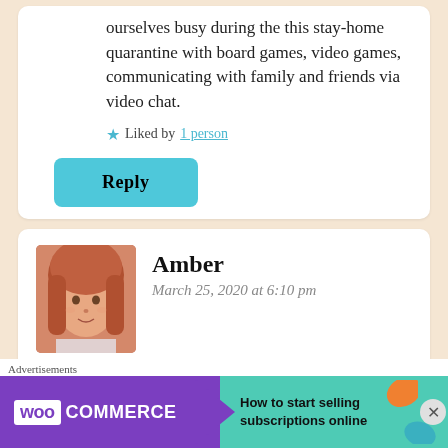ourselves busy during the this stay-home quarantine with board games, video games, communicating with family and friends via video chat.
Liked by 1 person
Reply
Amber
March 25, 2020 at 6:10 pm
These are great ideas. I try to focus on the good. I find that helps me a
[Figure (screenshot): WooCommerce advertisement banner: How to start selling subscriptions online]
Advertisements